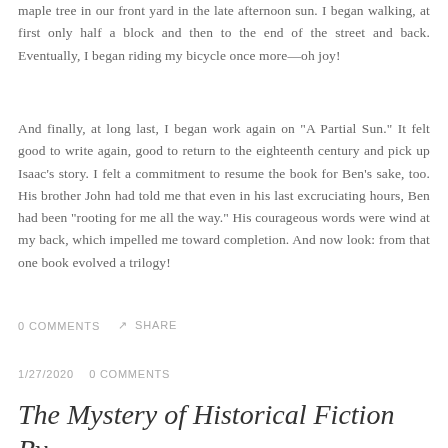maple tree in our front yard in the late afternoon sun. I began walking, at first only half a block and then to the end of the street and back. Eventually, I began riding my bicycle once more—oh joy!
And finally, at long last, I began work again on "A Partial Sun." It felt good to write again, good to return to the eighteenth century and pick up Isaac's story. I felt a commitment to resume the book for Ben's sake, too. His brother John had told me that even in his last excruciating hours, Ben had been "rooting for me all the way." His courageous words were wind at my back, which impelled me toward completion. And now look: from that one book evolved a trilogy!
0 COMMENTS    ☆ SHARE
1/27/2020    0 COMMENTS
The Mystery of Historical Fiction By